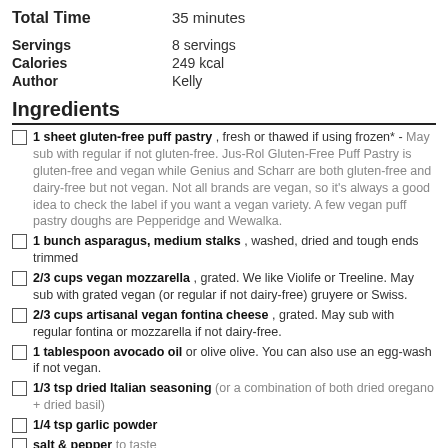Total Time    35 minutes
Servings    8 servings
Calories    249 kcal
Author    Kelly
Ingredients
1 sheet gluten-free puff pastry , fresh or thawed if using frozen* - May sub with regular if not gluten-free. Jus-Rol Gluten-Free Puff Pastry is gluten-free and vegan while Genius and Scharr are both gluten-free and dairy-free but not vegan. Not all brands are vegan, so it's always a good idea to check the label if you want a vegan variety. A few vegan puff pastry doughs are Pepperidge and Wewalka.
1 bunch asparagus, medium stalks , washed, dried and tough ends trimmed
2/3 cups vegan mozzarella , grated. We like Violife or Treeline. May sub with grated vegan (or regular if not dairy-free) gruyere or Swiss.
2/3 cups artisanal vegan fontina cheese , grated. May sub with regular fontina or mozzarella if not dairy-free.
1 tablespoon avocado oil or olive olive. You can also use an egg-wash if not vegan.
1/3 tsp dried Italian seasoning (or a combination of both dried oregano + dried basil)
1/4 tsp garlic powder
salt & pepper to taste
Flakey sea salt, fresh cracked black pepper and fresh chopped